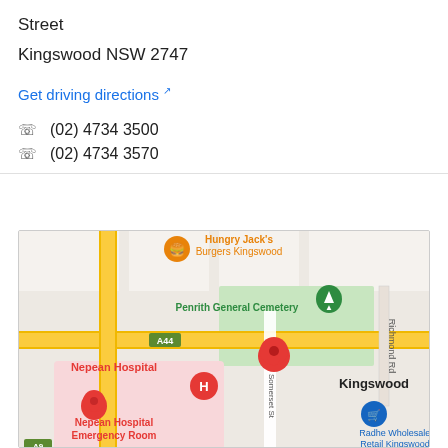Street
Kingswood NSW 2747
Get driving directions
(02) 4734 3500
(02) 4734 3570
[Figure (map): Google Maps screenshot showing Nepean Hospital area in Kingswood NSW, with markers for Hungry Jack's Burgers Kingswood, Penrith General Cemetery, Nepean Hospital, Nepean Hospital Emergency Room, and Radhe Wholesale & Retail Kingswood. Road A44 and Richmond Rd visible. Red location pin on Somerset St.]